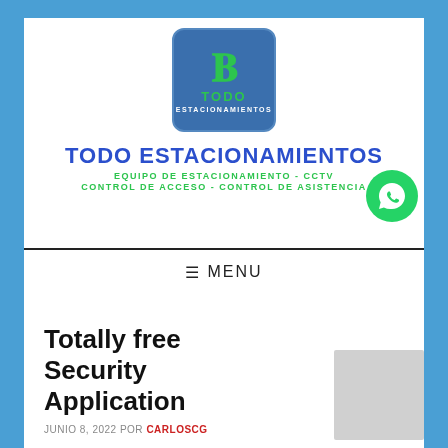[Figure (logo): Todo Estacionamientos logo: blue rounded square with green letter, text TODO and ESTACIONAMIENTOS]
TODO ESTACIONAMIENTOS
EQUIPO DE ESTACIONAMIENTO - CCTV CONTROL DE ACCESO - CONTROL DE ASISTENCIA
[Figure (illustration): WhatsApp green circular button with phone/chat icon]
≡ MENU
Totally free Security Application
JUNIO 8, 2022 POR CARLOSCG
[Figure (other): Gray rectangle placeholder, likely CAPTCHA or sidebar widget]